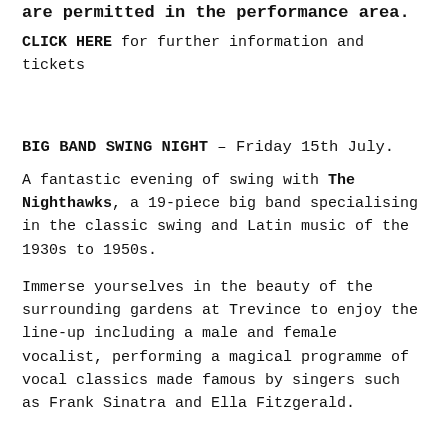are permitted in the performance area.
CLICK HERE for further information and tickets
BIG BAND SWING NIGHT – Friday 15th July.
A fantastic evening of swing with The Nighthawks, a 19-piece big band specialising in the classic swing and Latin music of the 1930s to 1950s.
Immerse yourselves in the beauty of the surrounding gardens at Trevince to enjoy the line-up including a male and female vocalist, performing a magical programme of vocal classics made famous by singers such as Frank Sinatra and Ella Fitzgerald.